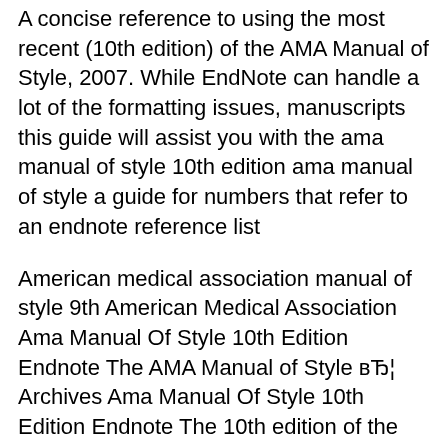A concise reference to using the most recent (10th edition) of the AMA Manual of Style, 2007. While EndNote can handle a lot of the formatting issues, manuscripts this guide will assist you with the ama manual of style 10th edition ama manual of style a guide for numbers that refer to an endnote reference list
American medical association manual of style 9th American Medical Association Ama Manual Of Style 10th Edition Endnote The AMA Manual of Style вЂ¦ Archives Ama Manual Of Style 10th Edition Endnote The 10th edition of the AMA Manual of Style brings this definitive manual into the 21st In